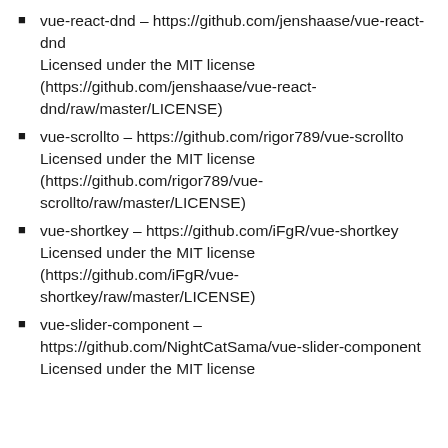vue-react-dnd – https://github.com/jenshaase/vue-react-dnd Licensed under the MIT license (https://github.com/jenshaase/vue-react-dnd/raw/master/LICENSE)
vue-scrollto – https://github.com/rigor789/vue-scrollto Licensed under the MIT license (https://github.com/rigor789/vue-scrollto/raw/master/LICENSE)
vue-shortkey – https://github.com/iFgR/vue-shortkey Licensed under the MIT license (https://github.com/iFgR/vue-shortkey/raw/master/LICENSE)
vue-slider-component – https://github.com/NightCatSama/vue-slider-component Licensed under the MIT license